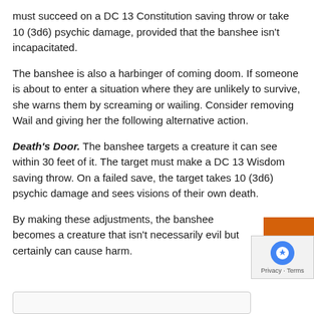must succeed on a DC 13 Constitution saving throw or take 10 (3d6) psychic damage, provided that the banshee isn't incapacitated.
The banshee is also a harbinger of coming doom. If someone is about to enter a situation where they are unlikely to survive, she warns them by screaming or wailing. Consider removing Wail and giving her the following alternative action.
Death's Door. The banshee targets a creature it can see within 30 feet of it. The target must make a DC 13 Wisdom saving throw. On a failed save, the target takes 10 (3d6) psychic damage and sees visions of their own death.
By making these adjustments, the banshee becomes a creature that isn't necessarily evil but certainly can cause harm.